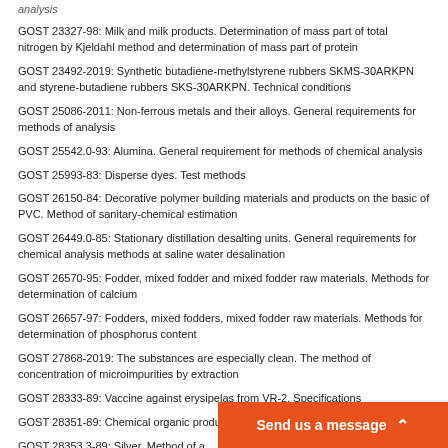analysis
GOST 23327-98: Milk and milk products. Determination of mass part of total nitrogen by Kjeldahl method and determination of mass part of protein
GOST 23492-2019: Synthetic butadiene-methylstyrene rubbers SKMS-30ARKPN and styrene-butadiene rubbers SKS-30ARKPN. Technical conditions
GOST 25086-2011: Non-ferrous metals and their alloys. General requirements for methods of analysis
GOST 25542.0-93: Alumina. General requirement for methods of chemical analysis
GOST 25993-83: Disperse dyes. Test methods
GOST 26150-84: Decorative polymer building materials and products on the basic of PVC. Method of sanitary-chemical estimation
GOST 26449.0-85: Stationary distillation desalting units. General requirements for chemical analysis methods at saline water desalination
GOST 26570-95: Fodder, mixed fodder and mixed fodder raw materials. Methods for determination of calcium
GOST 26657-97: Fodders, mixed fodders, mixed fodder raw materials. Methods for determination of phosphorus content
GOST 27868-2019: The substances are especially clean. The method of concentration of microimpurities by extraction
GOST 28333-89: Vaccine against erysipelas from VR-2. Specifications
GOST 28351-89: Chemical organic products. Determination of acidity and alkalinity
GOST 28353.3-89: Silver. Method of a...
GOST 28357-89: Coke-chemical produ...